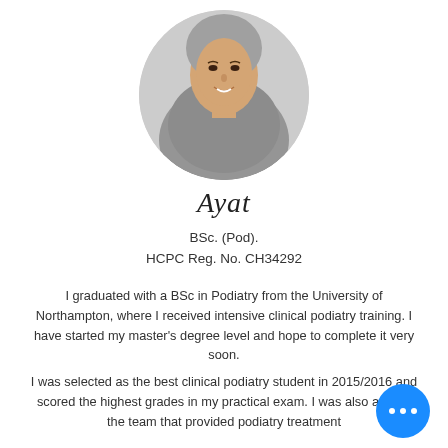[Figure (photo): Circular portrait photo of Ayat, a woman wearing a grey hijab, smiling, against a light grey background.]
Ayat
BSc. (Pod).
HCPC Reg. No. CH34292
I graduated with a BSc in Podiatry from the University of Northampton, where I received intensive clinical podiatry training. I have started my master's degree level and hope to complete it very soon.
I was selected as the best clinical podiatry student in 2015/2016 and scored the highest grades in my practical exam. I was also among the team that provided podiatry treatment and care for elderly care at a number of